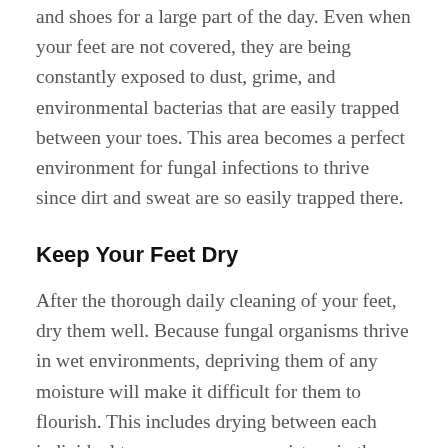and shoes for a large part of the day. Even when your feet are not covered, they are being constantly exposed to dust, grime, and environmental bacterias that are easily trapped between your toes. This area becomes a perfect environment for fungal infections to thrive since dirt and sweat are so easily trapped there.
Keep Your Feet Dry
After the thorough daily cleaning of your feet, dry them well. Because fungal organisms thrive in wet environments, depriving them of any moisture will make it difficult for them to flourish. This includes drying between each individual toe, as any excess moisture in these small areas can quickly lead to a bacterial or fungal infection…